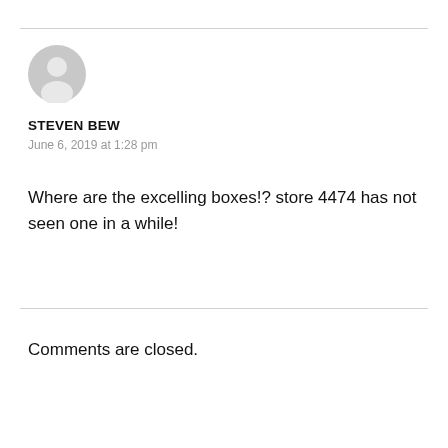[Figure (illustration): Generic user avatar icon — grey silhouette of a person on a light grey circle background]
STEVEN BEW
June 6, 2019 at 1:28 pm
Where are the excelling boxes!? store 4474 has not seen one in a while!
Comments are closed.